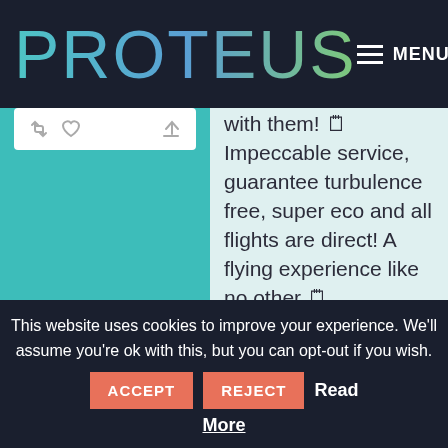PROTEUS MENU
[Figure (screenshot): Tweet card with retweet, like and share icons on teal background]
with them! 🗒 Impeccable service, guarantee turbulence free, super eco and all flights are direct! A flying experience like no other 🗒

#childrenstheatre #immersivetheatre #sensoryplay #learnthroughplay #basingstoketheatre #hampshiretheatre ...
This website uses cookies to improve your experience. We'll assume you're ok with this, but you can opt-out if you wish. ACCEPT REJECT Read More